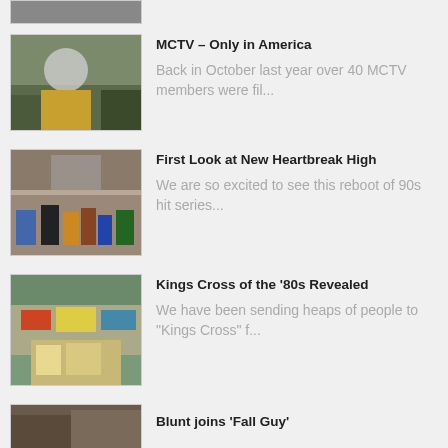[Figure (photo): Partial thumbnail visible at top of page]
[Figure (photo): Person wearing white helmet and yellow jacket on street]
MCTV – Only in America
Back in October last year over 40 MCTV members were fil...
[Figure (photo): Group of teenagers sitting on bleachers with basketball hoop in background]
First Look at New Heartbreak High
We are so excited to see this reboot of 90s hit series...
[Figure (photo): Aerial view of Kings Cross street scene in the 80s]
Kings Cross of the '80s Revealed
We have been sending heaps of people to "Kings Cross" f...
[Figure (photo): Partial thumbnail at bottom of page]
Blunt joins 'Fall Guy'